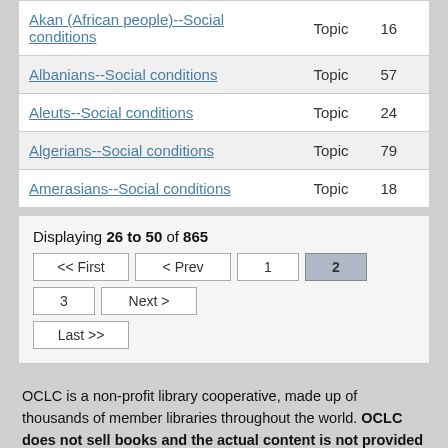| Subject | Type | Count |
| --- | --- | --- |
| Akan (African people)--Social conditions | Topic | 16 |
| Albanians--Social conditions | Topic | 57 |
| Aleuts--Social conditions | Topic | 24 |
| Algerians--Social conditions | Topic | 79 |
| Amerasians--Social conditions | Topic | 18 |
Displaying 26 to 50 of 865
OCLC is a non-profit library cooperative, made up of thousands of member libraries throughout the world. OCLC does not sell books and the actual content is not provided in our database. Libraries add bibliographic records to WorldCat representing books and other items in their collections. The Classify prototype helps librarians apply classification numbers to resources in library collections. Only the metadata/citation is presented in Classify and WorldCat. Your local library may be able to help you gain access to a resource found through Classify and WorldCat.